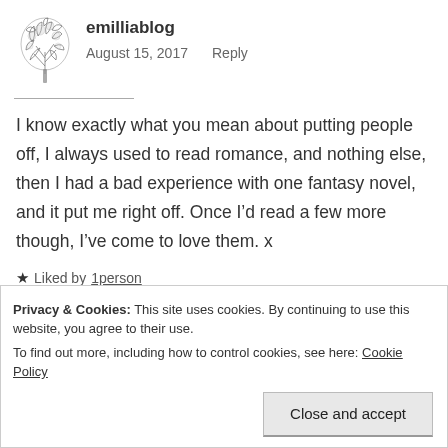[Figure (illustration): Blog avatar: stylized hand-drawn tree or plant sketch in dark gray]
emilliablog
August 15, 2017   Reply
I know exactly what you mean about putting people off, I always used to read romance, and nothing else, then I had a bad experience with one fantasy novel, and it put me right off. Once I’d read a few more though, I’ve come to love them. x
★ Liked by 1person
Privacy & Cookies: This site uses cookies. By continuing to use this website, you agree to their use.
To find out more, including how to control cookies, see here: Cookie Policy
Close and accept